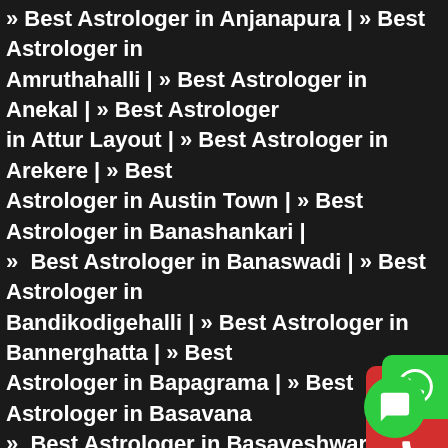Best Astrologer in Anjanapura | » Best Astrologer in Amruthahalli | » Best Astrologer in Anekal | » Best Astrologer in Attur Layout | » Best Astrologer in Arekere | » Best Astrologer in Austin Town | » Best Astrologer in Banashankari | » Best Astrologer in Banaswadi | » Best Astrologer in Bandikodigehalli | » Best Astrologer in Bannerghatta | » Best Astrologer in Bapagrama | » Best Astrologer in Basavanagudi | » Best Astrologer in Basaveshwaranagar | » Best Astrologer in Begur | » Best Astrologer in Bellandur | » Best Astrologer in Benson Town | » Best Astrologer in Bidrahalli | » Best Astrologer in Bilekahalli | » Best Astrologer in BTM Layout | » Best Astrologer in Bommanahalli | » Best Astrologer in Byatarayanapura | » Best Astrologer in C.V.Raman Nagar | » Best Astrologer in Chamarajasagara | » Best Astrologer in Chamrajpet | » Best Astrologer in Chandapura | » Best Astrologer in Chandra Layout | » Best Astrologer in Chickpet |
[Figure (other): WhatsApp floating button (green rounded rectangle with WhatsApp icon)]
[Figure (other): Phone call floating button (red rounded rectangle with phone icon)]
[Figure (other): Chat floating button (green circle with chat bubble icon over red background square)]